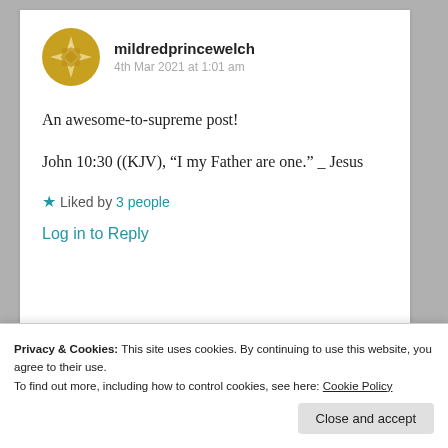mildredprincewelch
4th Mar 2021 at 1:01 am
An awesome-to-supreme post!
John 10:30 ((KJV), “I my Father are one.” _ Jesus
★ Liked by 3 people
Log in to Reply
Privacy & Cookies: This site uses cookies. By continuing to use this website, you agree to their use.
To find out more, including how to control cookies, see here: Cookie Policy
Close and accept